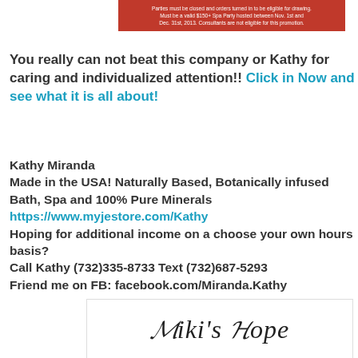[Figure (other): Promotional red banner with white text about spa party eligibility rules]
You really can not beat this company or Kathy for caring and individualized attention!! Click in Now and see what it is all about!
Kathy Miranda
Made in the USA! Naturally Based, Botanically infused Bath, Spa and 100% Pure Minerals
https://www.myjestore.com/Kathy
Hoping for additional income on a choose your own hours basis?
Call Kathy (732)335-8733 Text (732)687-5293
Friend me on FB: facebook.com/Miranda.Kathy
[Figure (logo): Miki's Hope stylized script logo in a white box with border]